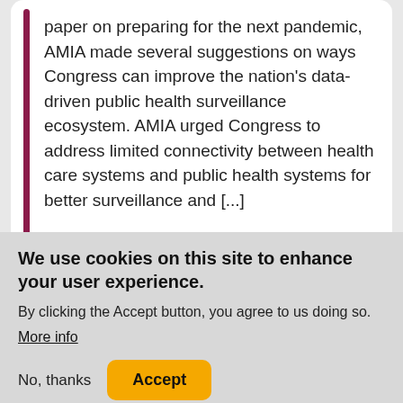paper on preparing for the next pandemic, AMIA made several suggestions on ways Congress can improve the nation's data-driven public health surveillance ecosystem. AMIA urged Congress to address limited connectivity between health care systems and public health systems for better surveillance and [...]
AMIA Cautions Against Paid
We use cookies on this site to enhance your user experience.
By clicking the Accept button, you agree to us doing so.
More info
No, thanks
Accept